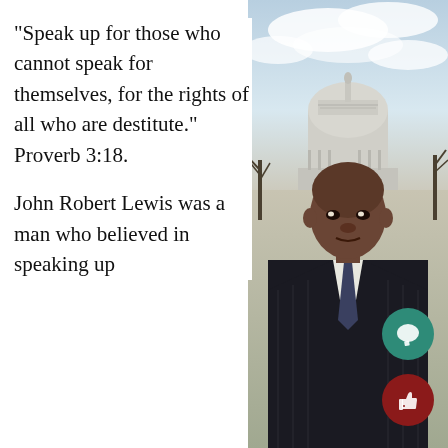[Figure (photo): A man in a dark pinstriped suit and tie standing in front of the US Capitol building with a cloudy sky and bare trees in background.]
“Speak up for those who cannot speak for themselves, for the rights of all who are destitute.” Proverb 3:18.
John Robert Lewis was a man who believed in speaking up